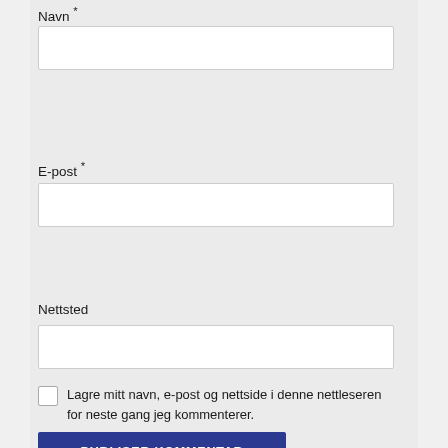Navn *
[Figure (screenshot): Empty text input field for Navn]
E-post *
[Figure (screenshot): Empty text input field for E-post]
Nettsted
[Figure (screenshot): Empty text input field for Nettsted]
Lagre mitt navn, e-post og nettside i denne nettleseren for neste gang jeg kommenterer.
PUBLISER KOMMENTAR
NYTTIGE LINKER